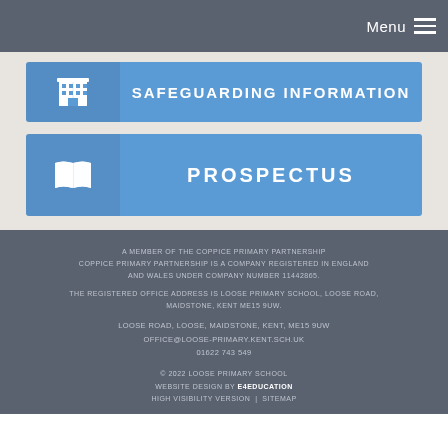Menu
SAFEGUARDING INFORMATION
PROSPECTUS
A MEMBER OF THE COPPICE PRIMARY PARTNERSHIP COPPICE PRIMARY PARTNERSHIP IS A COMPANY REGISTERED IN ENGLAND AND WALES UNDER COMPANY NUMBER 11442865. THE REGISTERED OFFICE ADDRESS IS LOOSE PRIMARY SCHOOL, LOOSE ROAD, MAIDSTONE, KENT ME15 9UW. LOOSE ROAD, LOOSE, MAIDSTONE, KENT, ME15 9UW OFFICE@LOOSE-PRIMARY.KENT.SCH.UK 01622 743 549 © 2022 LOOSE PRIMARY SCHOOL WEBSITE DESIGN BY E4EDUCATION HIGH VISIBILITY VERSION | SITEMAP